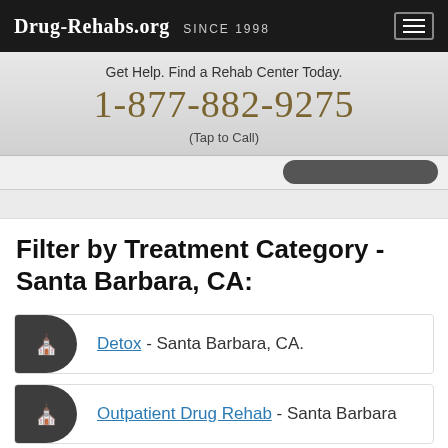Drug-Rehabs.org Since 1998
Get Help. Find a Rehab Center Today.
1-877-882-9275
(Tap to Call)
Filter by Treatment Category - Santa Barbara, CA:
Detox - Santa Barbara, CA.
Outpatient Drug Rehab - Santa Barbara